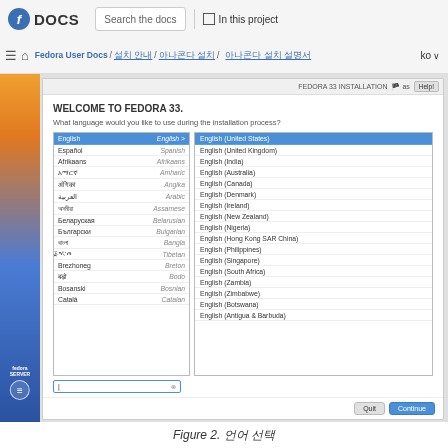Fedora DOCS | Search the docs | In this project
Fedora User Docs / 설치 안내 / 아나콘다 설치 / 아나콘다 설치 설명서 | ko
[Figure (screenshot): Screenshot of Fedora 33 Anaconda installer showing the Welcome to Fedora 33 language selection screen with a list of languages on the left (English selected, highlighted in blue) and English regional variants on the right (English United States selected). Languages include Español/Spanish, Afrikaans, Amharic, Angika, Arabic, Assamese, Belarusian, Bulgarian, Bangla, Tibetan, Breton, Bodo, Bosnian, Catalan. English variants: English (United States) selected, English (United Kingdom), English (India), English (Australia), English (Canada), English (Denmark), English (Ireland), English (New Zealand), English (Nigeria), English (Hong Kong SAR China), English (Philippines), English (Singapore), English (South Africa), English (Zambia), English (Zimbabwe), English (Botswana), English (Antigua & Barbuda). Bottom has Quit and Continue buttons.]
Figure 2. 언어 선택